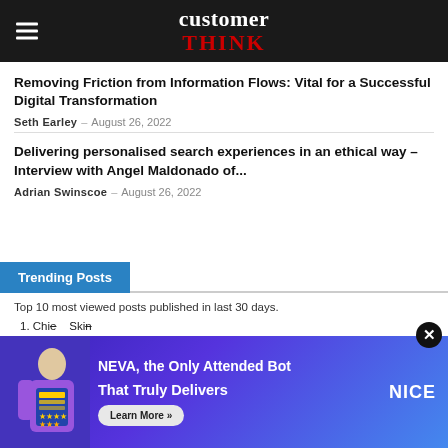customer THINK
Removing Friction from Information Flows: Vital for a Successful Digital Transformation
Seth Earley – August 26, 2022
Delivering personalised search experiences in an ethical way – Interview with Angel Maldonado of...
Adrian Swinscoe – August 26, 2022
Trending Posts
Top 10 most viewed posts published in last 30 days.
1. Chief...  Ski...
2. Is it loyalty:
[Figure (photo): Advertisement overlay: NEVA, the Only Attended Bot That Truly Delivers – Learn More >> NICE (on purple/blue gradient background with illustrated character)]